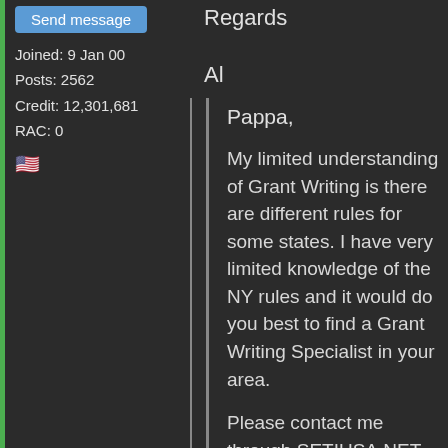Send message
Joined: 9 Jan 00
Posts: 2562
Credit: 12,301,681
RAC: 0
[Figure (illustration): US flag emoji]
Regards

Al
Pappa,

My limited understanding of Grant Writing is there are different rules for some states. I have very limited knowledge of the NY rules and it would do you best to find a Grant Writing Specialist in your area.

Please contact me through SETIUSA.NET and we can talk further about how I may be of